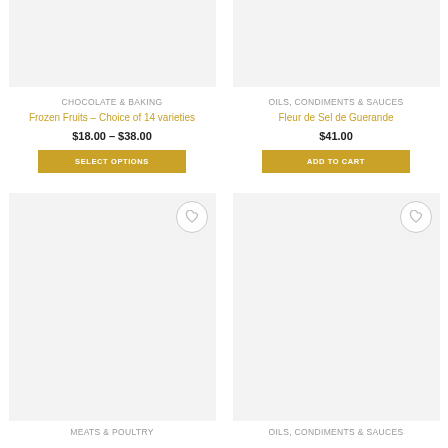[Figure (photo): Product image placeholder for Frozen Fruits, light gray background]
CHOCOLATE & BAKING
Frozen Fruits – Choice of 14 varieties
$18.00 – $38.00
SELECT OPTIONS
[Figure (photo): Product image placeholder for Fleur de Sel de Guerande, light gray background]
OILS, CONDIMENTS & SAUCES
Fleur de Sel de Guerande
$41.00
ADD TO CART
[Figure (photo): Product image placeholder bottom left, light gray background with wishlist heart icon]
MEATS & POULTRY
[Figure (photo): Product image placeholder bottom right, light gray background with wishlist heart icon]
OILS, CONDIMENTS & SAUCES